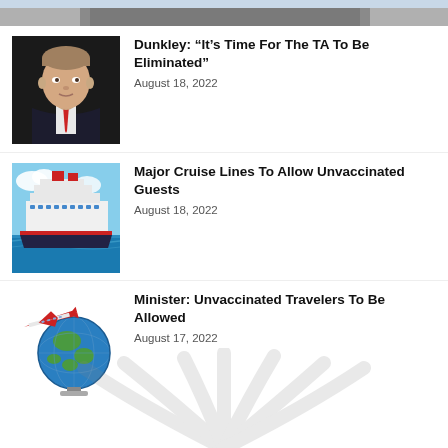[Figure (photo): Cropped top portion of a road image]
[Figure (photo): Headshot of a man in a suit with a tie]
Dunkley: “It’s Time For The TA To Be Eliminated”
August 18, 2022
[Figure (photo): Large white cruise ship on blue-green ocean water]
Major Cruise Lines To Allow Unvaccinated Guests
August 18, 2022
[Figure (illustration): Illustration of an airplane flying around a globe]
Minister: Unvaccinated Travelers To Be Allowed
August 17, 2022
[Figure (illustration): Partial watermark/logo showing a road graphic at bottom of page]